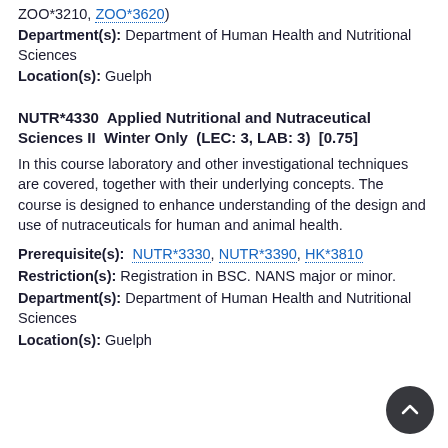Prerequisite(s): ... ZOO*3210, ZOO*3620)
Department(s): Department of Human Health and Nutritional Sciences
Location(s): Guelph
NUTR*4330  Applied Nutritional and Nutraceutical Sciences II  Winter Only  (LEC: 3, LAB: 3)  [0.75]
In this course laboratory and other investigational techniques are covered, together with their underlying concepts. The course is designed to enhance understanding of the design and use of nutraceuticals for human and animal health.
Prerequisite(s): NUTR*3330, NUTR*3390, HK*3810
Restriction(s): Registration in BSC. NANS major or minor.
Department(s): Department of Human Health and Nutritional Sciences
Location(s): Guelph